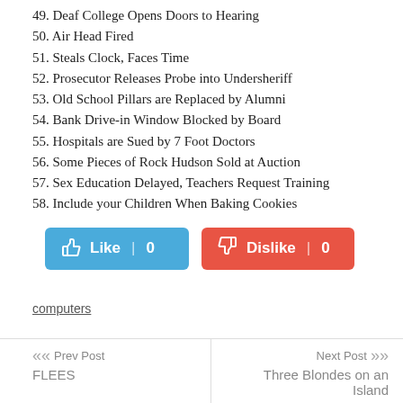49. Deaf College Opens Doors to Hearing
50. Air Head Fired
51. Steals Clock, Faces Time
52. Prosecutor Releases Probe into Undersheriff
53. Old School Pillars are Replaced by Alumni
54. Bank Drive-in Window Blocked by Board
55. Hospitals are Sued by 7 Foot Doctors
56. Some Pieces of Rock Hudson Sold at Auction
57. Sex Education Delayed, Teachers Request Training
58. Include your Children When Baking Cookies
[Figure (other): Like button (blue, count 0) and Dislike button (red, count 0)]
computers
<< Prev Post | FLEES | Next Post >> | Three Blondes on an Island